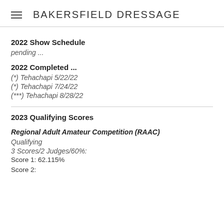BAKERSFIELD DRESSAGE
2022 Show Schedule
pending ...
2022 Completed ...
(*) Tehachapi 5/22/22
(*) Tehachapi 7/24/22
(***) Tehachapi 8/28/22
2023 Qualifying Scores
Regional Adult Amateur Competition (RAAC)
Qualifying
3 Scores/2 Judges/60%:
Score 1: 62.115%
Score 2: